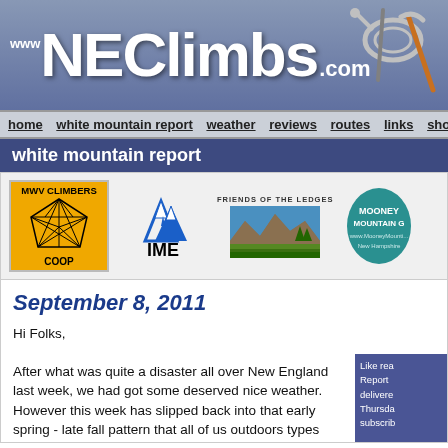www NEClimbs .com
home  white mountain report  weather  reviews  routes  links  shout!  arch
white mountain report
[Figure (logo): MWV Climbers Coop logo - yellow background with geometric crystal/diamond shape]
[Figure (logo): IME logo - blue mountain peaks with IME text]
[Figure (logo): Friends of the Ledges - landscape with mountains and fields]
[Figure (logo): Mooney Mountain Guide partial logo - teal oval]
September 8, 2011
Hi Folks,
After what was quite a disaster all over New England last week, we had got some deserved nice weather. However this week has slipped back into that early spring - late fall pattern that all of us outdoors types hate. Basically rain, rain and more rain - certainly not what we need right now. That said, however much we are getting right now, it's not as bad as what's going on over on New
Like rea
Report
delivere
Thursda
subscrib